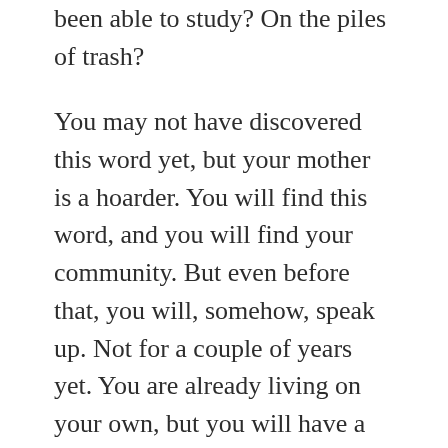been able to study? On the piles of trash?
You may not have discovered this word yet, but your mother is a hoarder. You will find this word, and you will find your community. But even before that, you will, somehow, speak up. Not for a couple of years yet. You are already living on your own, but you will have a child soon, a wild pink daughter, and everything will change. Somehow, you will be driven to speak, the words bursting forth because something inside of you knows how desperately you need to get the poison out. Secrets make